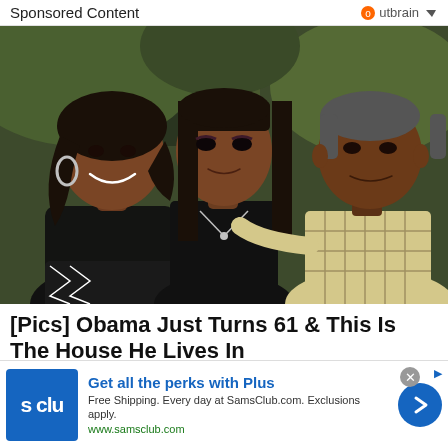Sponsored Content  Outbrain
[Figure (photo): Family portrait of Michelle Obama, a young woman, and Barack Obama standing together outdoors in front of trees]
[Pics] Obama Just Turns 61 & This Is The House He Lives In
Get all the perks with Plus  Free Shipping. Every day at SamsClub.com. Exclusions apply.  www.samsclub.com